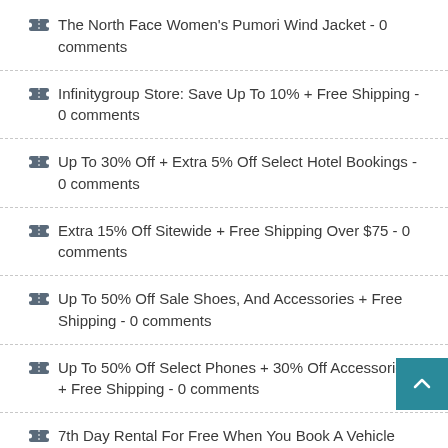🏷 The North Face Women's Pumori Wind Jacket - 0 comments
🏷 Infinitygroup Store: Save Up To 10% + Free Shipping - 0 comments
🏷 Up To 30% Off + Extra 5% Off Select Hotel Bookings - 0 comments
🏷 Extra 15% Off Sitewide + Free Shipping Over $75 - 0 comments
🏷 Up To 50% Off Sale Shoes, And Accessories + Free Shipping - 0 comments
🏷 Up To 50% Off Select Phones + 30% Off Accessories + Free Shipping - 0 comments
🏷 7th Day Rental For Free When You Book A Vehicle For 6